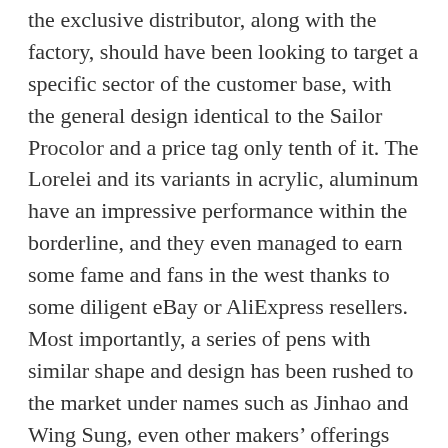the exclusive distributor, along with the factory, should have been looking to target a specific sector of the customer base, with the general design identical to the Sailor Procolor and a price tag only tenth of it. The Lorelei and its variants in acrylic, aluminum have an impressive performance within the borderline, and they even managed to earn some fame and fans in the west thanks to some diligent eBay or AliExpress resellers. Most importantly, a series of pens with similar shape and design has been rushed to the market under names such as Jinhao and Wing Sung, even other makers' offerings which by no means could be defined as a demonstrator began to market themselves as “Lorelei” pens in the item description.  Coincident with this trend, a whole new generation of Chinese fountain pens